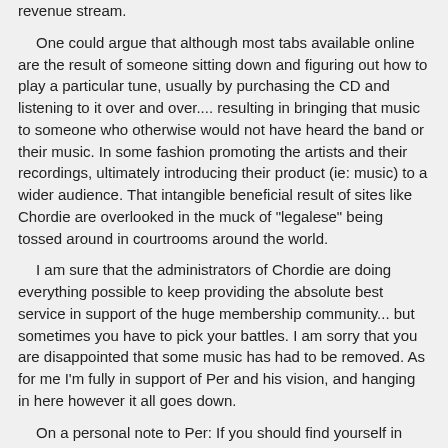revenue stream.

One could argue that although most tabs available online are the result of someone sitting down and figuring out how to play a particular tune, usually by purchasing the CD and listening to it over and over.... resulting in bringing that music to someone who otherwise would not have heard the band or their music.  In some fashion promoting the artists and their recordings, ultimately introducing their product (ie: music) to a wider audience.  That intangible beneficial result of sites like Chordie are overlooked in the muck of "legalese" being tossed around in courtrooms around the world.

I am sure that the administrators of Chordie are doing everything possible to keep providing the absolute best service in support of the huge membership community... but sometimes you have to pick your battles.  I am sorry that you are disappointed that some music has had to be removed.  As for me I'm fully in support of Per and his vision, and hanging in here however it all goes down.

On a personal note to Per:  If you should find yourself in need of legal services,  if you would put the word out.... I'm sure you would find yourself in receipt of more support than you could imagine.  If every Chordie member tossed a $5.00 bill in a hat we could build a reasonable defense reserve fund!  Just a thought.... where do I send my contribution?